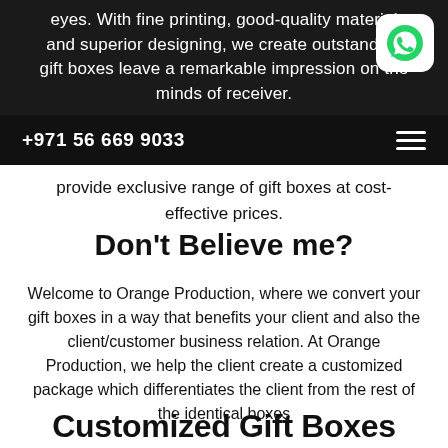eyes. With fine printing, good-quality material and superior designing, we create outstanding gift boxes leave a remarkable impression on the minds of receiver.
+971 56 669 9033
provide exclusive range of gift boxes at cost-effective prices.
Don’t Believe me?
Welcome to Orange Production, where we convert your gift boxes in a way that benefits your client and also the client/customer business relation. At Orange Production, we help the client create a customized package which differentiates the client from the rest of the identical boxes
Customized Gift Boxes